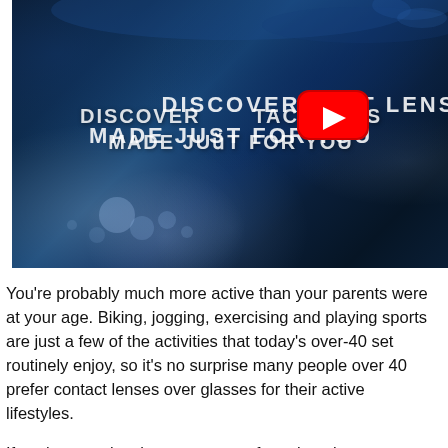[Figure (screenshot): Video thumbnail with dark blue underwater background and white bold text reading 'DISCOVER CONTACT LENS MADE JUST FOR YOU' with a YouTube play button overlay in the center.]
You're probably much more active than your parents were at your age. Biking, jogging, exercising and playing sports are just a few of the activities that today's over-40 set routinely enjoy, so it's no surprise many people over 40 prefer contact lenses over glasses for their active lifestyles.
If you're experiencing symptoms of presbyopia, stop pushing your menu to arm's-length to read it, and